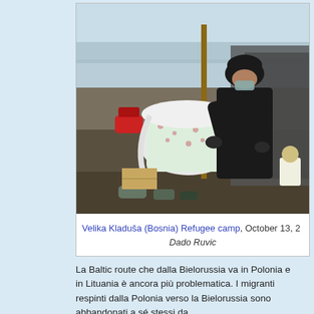[Figure (photo): A person wearing a black jacket and black turban with a face mask crouches next to a baby cradle/bassinet covered in a white spotted cloth, in an outdoor refugee camp. Various items are on the ground including cans, cardboard, and camp equipment. A plastic tarp is visible in the background.]
Velika Kladuša (Bosnia) Refugee camp, October 13, 2 — Dado Ruvic
La Baltic route che dalla Bielorussia va in Polonia e in Lituania è ancora più problematica. I migranti respinti dalla Polonia verso la Bielorussia sono abbandonati a sé stessi da